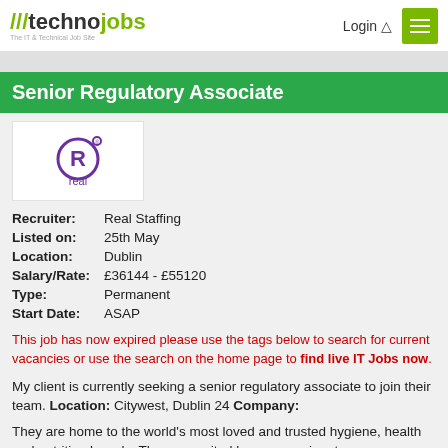///technojobs — The IT & Technical Job Site | Login | Menu
Senior Regulatory Associate
[Figure (logo): Real Staffing company logo — purple R in a circle above the word 'real']
| Recruiter: | Real Staffing |
| Listed on: | 25th May |
| Location: | Dublin |
| Salary/Rate: | £36144 - £55120 |
| Type: | Permanent |
| Start Date: | ASAP |
This job has now expired please use the tags below to search for current vacancies or use the search on the home page to find live IT Jobs now.
My client is currently seeking a senior regulatory associate to join their team. Location: Citywest, Dublin 24 Company:
They are home to the world's most loved and trusted hygiene, health and nutrition brands. They are united by one passionate